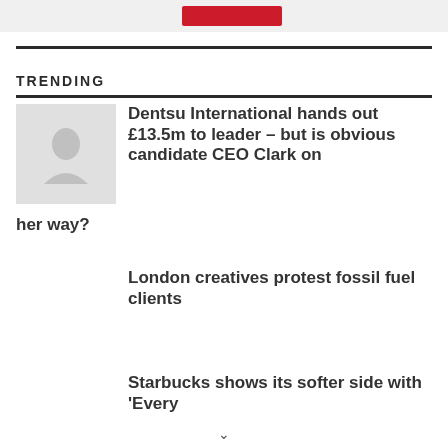[Figure (other): Gray top bar with red button element]
TRENDING
Dentsu International hands out £13.5m to leader – but is obvious candidate CEO Clark on her way?
London creatives protest fossil fuel clients
Starbucks shows its softer side with 'Every